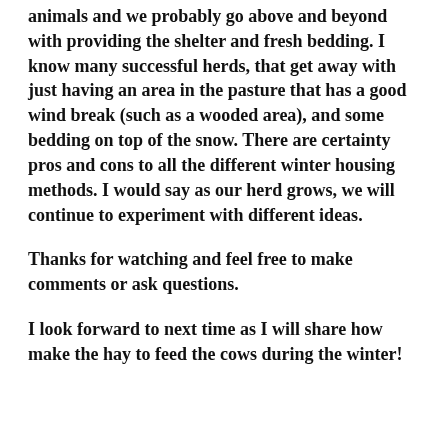animals and we probably go above and beyond with providing the shelter and fresh bedding. I know many successful herds, that get away with just having an area in the pasture that has a good wind break (such as a wooded area), and some bedding on top of the snow. There are certainty pros and cons to all the different winter housing methods. I would say as our herd grows, we will continue to experiment with different ideas.
Thanks for watching and feel free to make comments or ask questions.
I look forward to next time as I will share how make the hay to feed the cows during the winter!